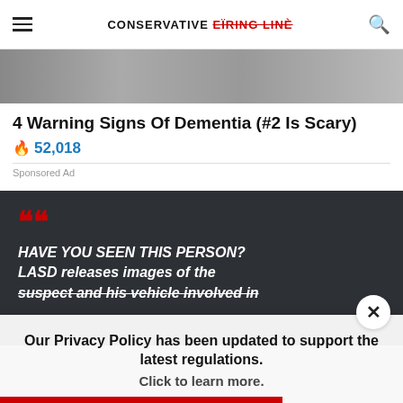CONSERVATIVE FIRING LINE
[Figure (photo): Partial hero image at top of article, appears to show a person outdoors, cropped]
4 Warning Signs Of Dementia (#2 Is Scary)
🔥 52,018
Sponsored Ad
[Figure (screenshot): Dark background card with red quotation marks and white italic text reading: HAVE YOU SEEN THIS PERSON? LASD releases images of the suspect and his vehicle involved in]
Our Privacy Policy has been updated to support the latest regulations. Click to learn more.